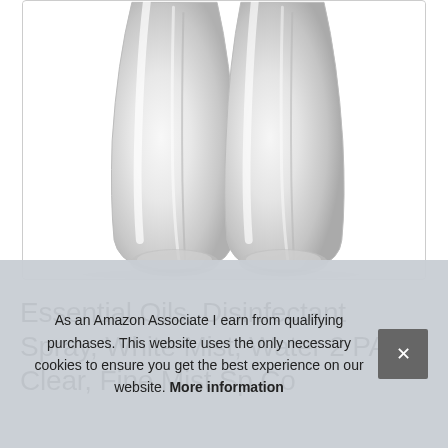[Figure (photo): Two clear glass spray bottles photographed from below, showing the bases and curved sides of the bottles against a white background.]
Essential Oils, Disinfectant Spray, White Mist, Water 2 PACK Clear, Fine Mist Sp Co
As an Amazon Associate I earn from qualifying purchases. This website uses the only necessary cookies to ensure you get the best experience on our website. More information